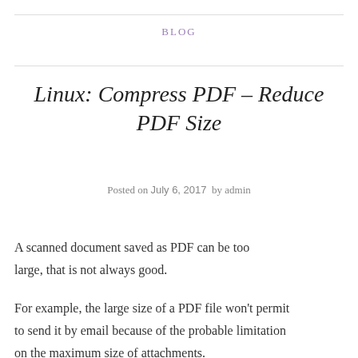BLOG
Linux: Compress PDF – Reduce PDF Size
Posted on July 6, 2017  by admin
A scanned document saved as PDF can be too large, that is not always good.
For example, the large size of a PDF file won't permit to send it by email because of the probable limitation on the maximum size of attachments.